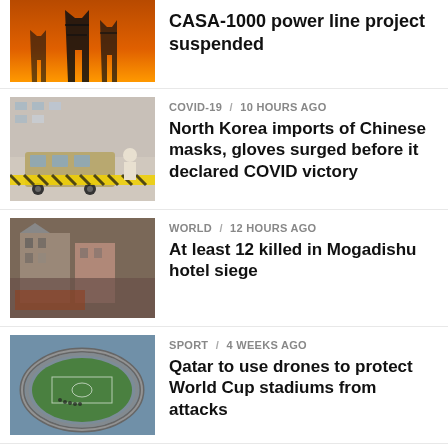[Figure (photo): Power line towers silhouetted against orange sunset sky]
CASA-1000 power line project suspended
[Figure (photo): Bus with hazard tape and person in protective gear]
COVID-19 / 10 hours ago
North Korea imports of Chinese masks, gloves surged before it declared COVID victory
[Figure (photo): Damaged building, scene of hotel siege in Mogadishu]
WORLD / 12 hours ago
At least 12 killed in Mogadishu hotel siege
[Figure (photo): Aerial view of a large stadium with green field]
SPORT / 4 weeks ago
Qatar to use drones to protect World Cup stadiums from attacks
[Figure (photo): Man wearing dark baseball cap, close-up portrait]
SPORT / 4 weeks ago
Trott appointed head coach of Afghanistan cricket team
[Figure (photo): Sports venue or stadium exterior]
SPORT / 4 weeks ago